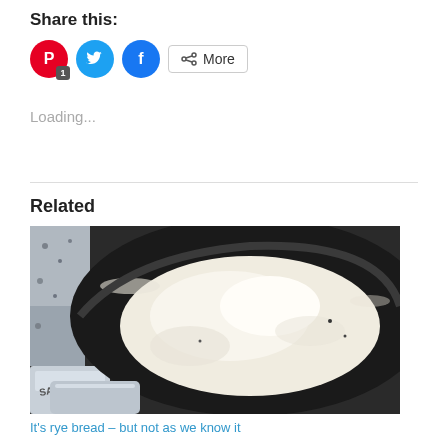Share this:
[Figure (other): Social share buttons: Pinterest (red circle with P icon and badge '1'), Twitter (cyan circle with bird icon), Facebook (blue circle with f icon), and a 'More' button with share icon]
Loading...
[Figure (photo): Close-up photograph of white flour inside a dark mixing bowl on a kitchen scale (Salter brand visible at bottom)]
It's rye bread – but not as we know it